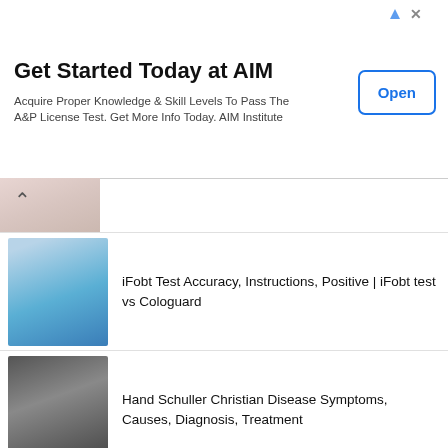[Figure (other): Advertisement banner for AIM Institute]
Get Started Today at AIM
Acquire Proper Knowledge & Skill Levels To Pass The A&P License Test. Get More Info Today. AIM Institute
iFobt Test Accuracy, Instructions, Positive | iFobt test vs Cologuard
Hand Schuller Christian Disease Symptoms, Causes, Diagnosis, Treatment
Choledochoduodenostomy Procedure, Steps, Indications, Complications
Lateral Internal Sphincterotomy Steps, Procedure, Recovery, Complications